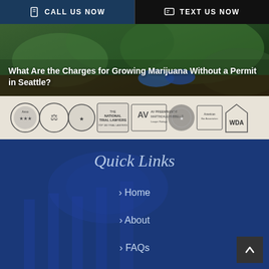CALL US NOW | TEXT US NOW
[Figure (photo): Close-up photo of marijuana plants being handled with blue gloves in soil]
What Are the Charges for Growing Marijuana Without a Permit in Seattle?
[Figure (infographic): Row of legal award badges and accreditation logos: Avvo, National Trial Lawyers, AV Preeminent, WDA and others]
Quick Links
› Home
› About
› FAQs